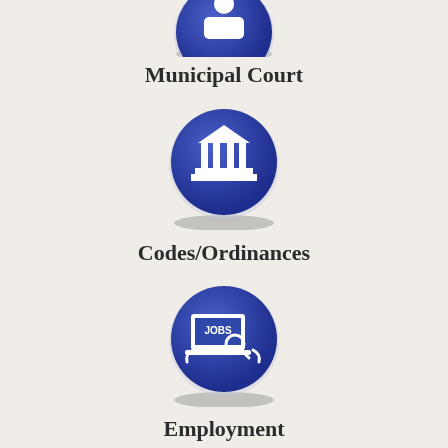[Figure (illustration): Blue circular icon with white courthouse/building icon, partially cropped at top - Municipal Court]
Municipal Court
[Figure (illustration): Blue circular icon with white pillared building/courthouse icon - Codes/Ordinances]
Codes/Ordinances
[Figure (illustration): Blue circular icon with white laptop showing JOBS text and magnifying glass - Employment]
Employment
[Figure (illustration): Blue circular icon with white police badge shield showing POLICE text and star - Police Dept]
Police Dept